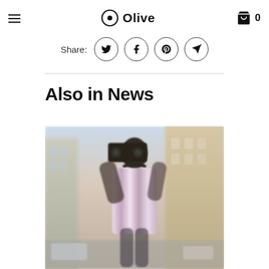Olive (logo with hamburger menu and cart icon showing 0)
Share:
Also in News
[Figure (photo): A man in a striped shirt carrying a boombox on his shoulder, standing on a street with buildings in the background. The image is slightly blurred.]